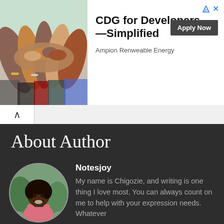[Figure (photo): Advertisement banner showing hands stacked together in a team gesture, alongside text 'CDG for Developers —Simplified' with an 'Apply Now' button and 'Ampion Renweable Energy' tagline]
CDG for Developers —Simplified
Apply Now
Ampion Renweable Energy
About Author
[Figure (photo): Circular profile photo of a smiling person wearing a pink shirt, outdoors with green background]
Notesjoy
My name is Chigozie, and writing is one thing I love most. You can always count on me to help with your expression needs. Whatever words you need to express what you feel for your friends, family, e.t.c and for every occasion, you will find them here.